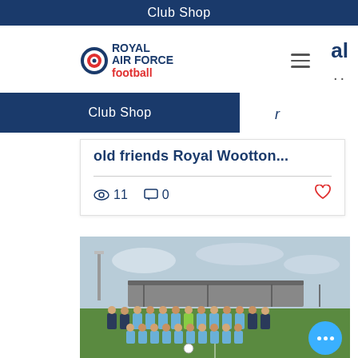Club Shop
[Figure (logo): Royal Air Force football logo with roundel icon]
Club Shop
old friends Royal Wootton...
11 views  0 comments  like
[Figure (photo): Team photo of football players in light blue kit standing in two rows on a grass pitch, with a covered stand in the background. A bright blue FAB button with three dots is visible bottom right.]